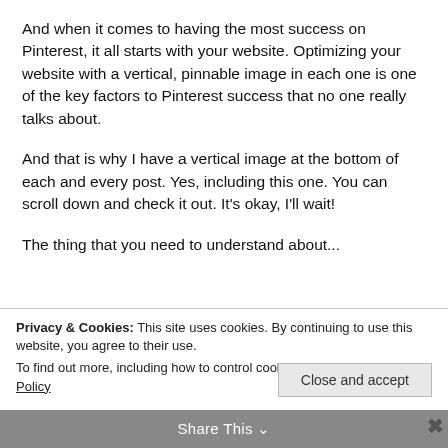And when it comes to having the most success on Pinterest, it all starts with your website. Optimizing your website with a vertical, pinnable image in each one is one of the key factors to Pinterest success that no one really talks about.
And that is why I have a vertical image at the bottom of each and every post. Yes, including this one. You can scroll down and check it out. It's okay, I'll wait!
The thing that you need to understand about...
Privacy & Cookies: This site uses cookies. By continuing to use this website, you agree to their use.
To find out more, including how to control cookies, see here: Cookie Policy
Close and accept
Share This
VERTICAL IMAGES: SHARING FOR